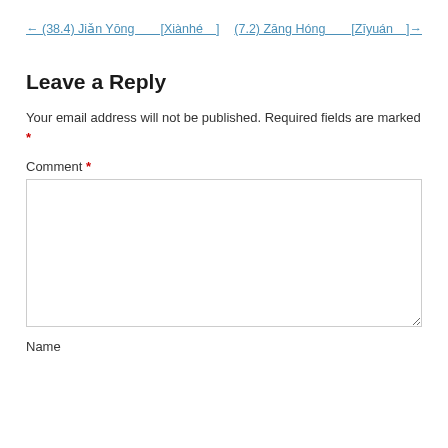← (38.4) Jiǎn Yōng＿＿[Xiànhé＿]
(7.2) Zāng Hóng＿＿[Zīyuán＿]→
Leave a Reply
Your email address will not be published. Required fields are marked *
Comment *
Name